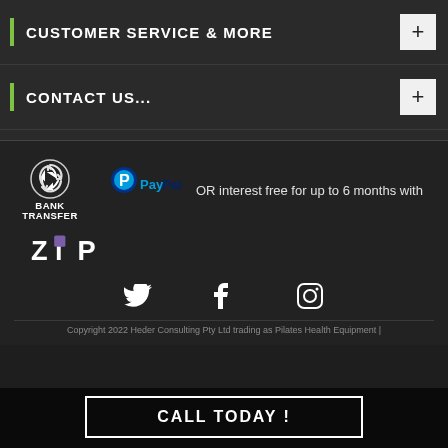CUSTOMER SERVICE & MORE
CONTACT US...
[Figure (logo): Payment method logos: Bank Transfer icon, PayPal logo, Zip logo, and text 'OR interest free for up to 6 months with']
[Figure (infographic): Social media icons: Twitter (bird), Facebook (f), Instagram (circle with camera)]
Copyright 2022 Heder Consulting Pty Ltd trading as Pilates Health Equipment |
CALL TODAY !